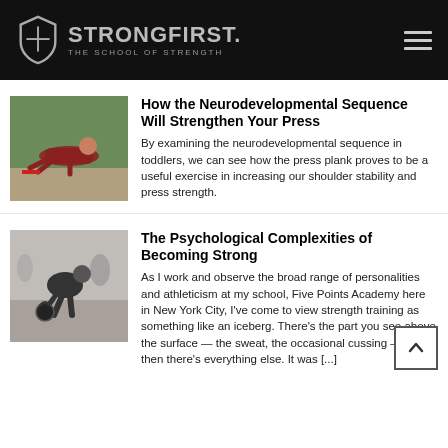StrongFirst. The School of Strength
[Figure (photo): Person doing a press plank / push-up position on a gym floor, color photo]
How the Neurodevelopmental Sequence Will Strengthen Your Press
By examining the neurodevelopmental sequence in toddlers, we can see how the press plank proves to be a useful exercise in increasing our shoulder stability and press strength.
[Figure (photo): Black and white photo of athlete lifting a kettlebell in a gym]
The Psychological Complexities of Becoming Strong
As I work and observe the broad range of personalities and athleticism at my school, Five Points Academy here in New York City, I've come to view strength training as something like an iceberg. There's the part you see above the surface — the sweat, the occasional cussing — and then there's everything else. It was [...]